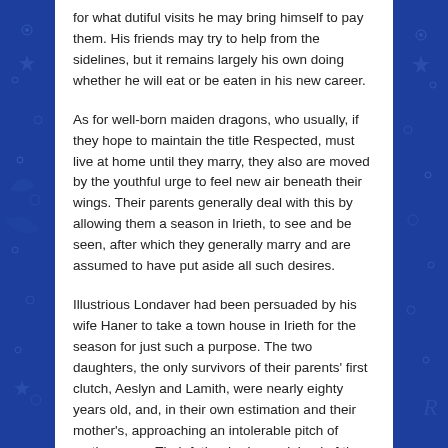for what dutiful visits he may bring himself to pay them. His friends may try to help from the sidelines, but it remains largely his own doing whether he will eat or be eaten in his new career.
As for well-born maiden dragons, who usually, if they hope to maintain the title Respected, must live at home until they marry, they also are moved by the youthful urge to feel new air beneath their wings. Their parents generally deal with this by allowing them a season in Irieth, to see and be seen, after which they generally marry and are assumed to have put aside all such desires.
Illustrious Londaver had been persuaded by his wife Haner to take a town house in Irieth for the season for just such a purpose. The two daughters, the only survivors of their parents' first clutch, Aeslyn and Lamith, were nearly eighty years old, and, in their own estimation and their mother's, approaching an intolerable pitch of restlessness. Their father had complained of the